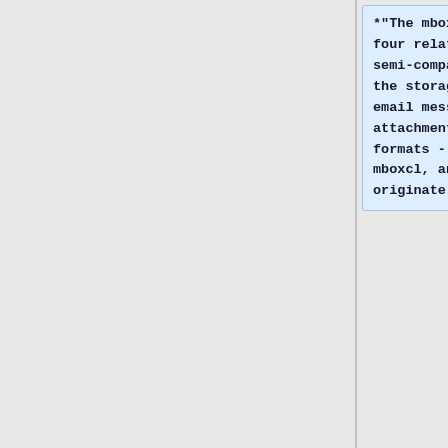*"The mbox family refers to four related, but only semi-compatible formats for the storage of one or more email messages and attachments. The four formats - mboxo, mboxrd, mboxcl, and mboxcl2 – originate from